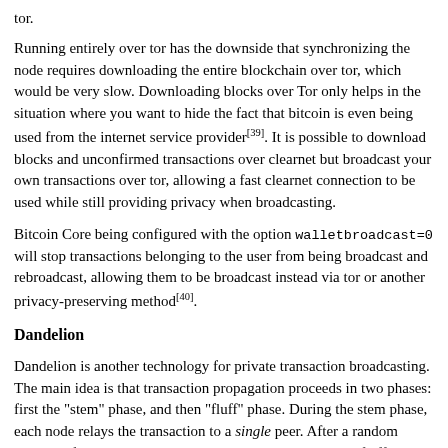tor.
Running entirely over tor has the downside that synchronizing the node requires downloading the entire blockchain over tor, which would be very slow. Downloading blocks over Tor only helps in the situation where you want to hide the fact that bitcoin is even being used from the internet service provider[39]. It is possible to download blocks and unconfirmed transactions over clearnet but broadcast your own transactions over tor, allowing a fast clearnet connection to be used while still providing privacy when broadcasting.
Bitcoin Core being configured with the option walletbroadcast=0 will stop transactions belonging to the user from being broadcast and rebroadcast, allowing them to be broadcast instead via tor or another privacy-preserving method[40].
Dandelion
Dandelion is another technology for private transaction broadcasting. The main idea is that transaction propagation proceeds in two phases: first the "stem" phase, and then "fluff" phase. During the stem phase, each node relays the transaction to a single peer. After a random number of hops along the stem, the transaction enters the fluff phase, which behaves like the ordinary transaction flooding (diffusion). F...